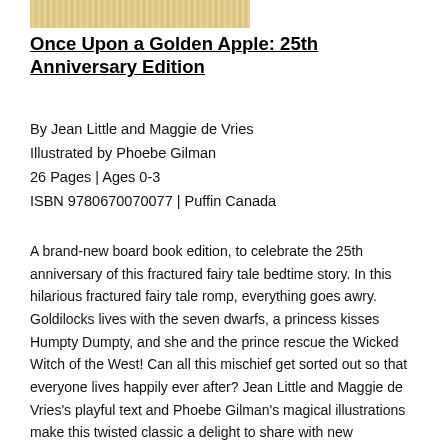[Figure (illustration): Decorative banner image at top of page, appearing to be the book cover or a decorative bar with golden/ornate text styling]
Once Upon a Golden Apple: 25th Anniversary Edition
By Jean Little and Maggie de Vries
Illustrated by Phoebe Gilman
26 Pages | Ages 0-3
ISBN 9780670070077 | Puffin Canada
A brand-new board book edition, to celebrate the 25th anniversary of this fractured fairy tale bedtime story. In this hilarious fractured fairy tale romp, everything goes awry. Goldilocks lives with the seven dwarfs, a princess kisses Humpty Dumpty, and she and the prince rescue the Wicked Witch of the West! Can all this mischief get sorted out so that everyone lives happily ever after? Jean Little and Maggie de Vries's playful text and Phoebe Gilman's magical illustrations make this twisted classic a delight to share with new generations of readers.